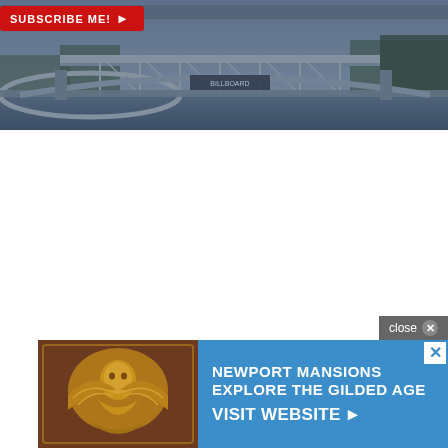[Figure (photo): Blue-tinted aerial photograph of a city bridge over a river, with steel arch and truss structure, trees and road visible in background.]
[Figure (other): Red subscribe button with white text 'SUBSCRIBE ME!' and a right-pointing arrow, overlaid on top-left of banner photo.]
[Figure (other): Advertisement banner at bottom of page. Left side shows an ornate golden decorative relief/medallion image against brown background. Right side has blue background with white bold text: 'NEWPORT MANSIONS EXPLORE THE GILDED AGE VISIT WEBSITE >' with a close X button in upper right corner and a 'close X' button above the ad.]